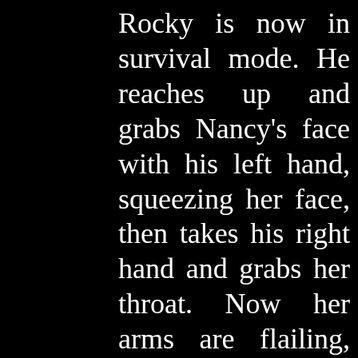Rocky is now in survival mode. He reaches up and grabs Nancy's face with his left hand, squeezing her face, then takes his right hand and grabs her throat. Now her arms are flailing, unable to hit him. She's trying to pry his hands off her. He rakes his fingers across her face, which puts her in pain